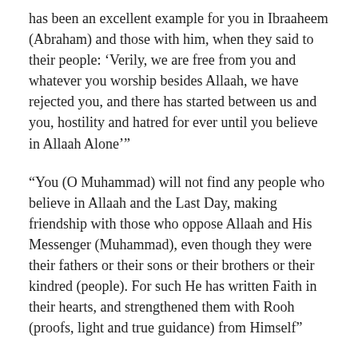has been an excellent example for you in Ibraaheem (Abraham) and those with him, when they said to their people: ‘Verily, we are free from you and whatever you worship besides Allaah, we have rejected you, and there has started between us and you, hostility and hatred for ever until you believe in Allaah Alone’”
“You (O Muhammad) will not find any people who believe in Allaah and the Last Day, making friendship with those who oppose Allaah and His Messenger (Muhammad), even though they were their fathers or their sons or their brothers or their kindred (people). For such He has written Faith in their hearts, and strengthened them with Rooh (proofs, light and true guidance) from Himself”
“O you who believe! Take not My enemies and your enemies (i.e. disbelievers and polytheists) as friends, showing affection towards them, while they have